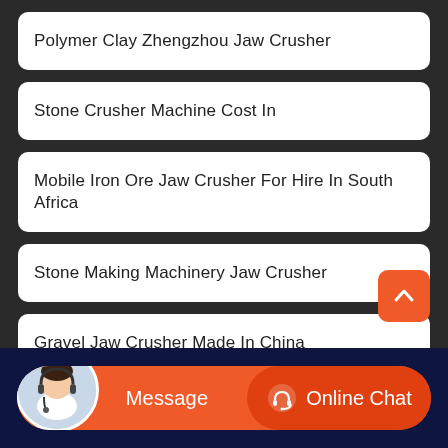Polymer Clay Zhengzhou Jaw Crusher
Stone Crusher Machine Cost In
Mobile Iron Ore Jaw Crusher For Hire In South Africa
Stone Making Machinery Jaw Crusher
Gravel Jaw Crusher Made In China
Message | Online Chat